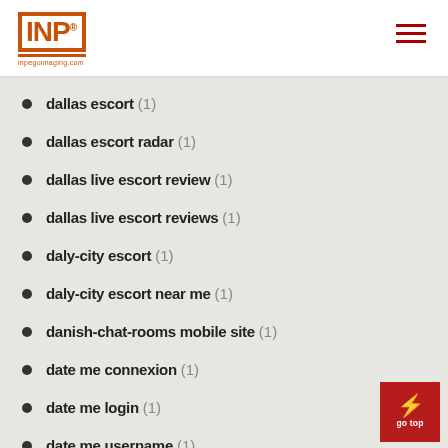INP logo with hamburger menu
dallas escort (1)
dallas escort radar (1)
dallas live escort review (1)
dallas live escort reviews (1)
daly-city escort (1)
daly-city escort near me (1)
danish-chat-rooms mobile site (1)
date me connexion (1)
date me login (1)
date me username (1)
Datehookup reviews (1)